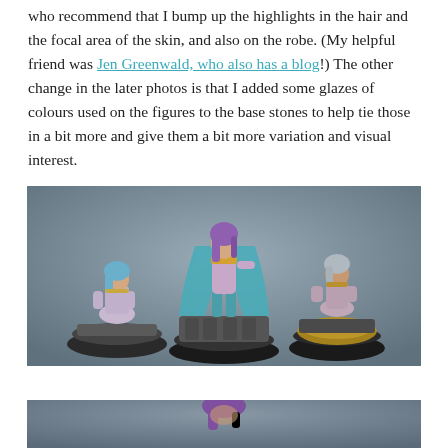who recommend that I bump up the highlights in the hair and the focal area of the skin, and also on the robe. (My helpful friend was Jen Greenwald, who also has a blog!) The other change in the later photos is that I added some glazes of colours used on the figures to the base stones to help tie those in a bit more and give them a bit more variation and visual interest.
[Figure (photo): Three painted fantasy miniature figures on decorative bases against a gray background. Left: a blue-haired figure kneeling. Center: a tall purple-haired figure in a teal robe standing on a stone plinth. Right: a figure with a snake coiled around the base.]
[Figure (photo): Partial view of another painted miniature figure, cropped at the bottom of the page.]